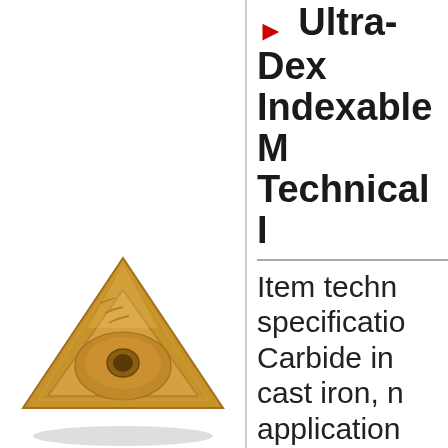▶ Ultra-Dex Indexable Milling Technical Info
Item technical specifications: Carbide insert for cast iron, milling applications. Includes insert size and nose radius.
[Figure (photo): Gold/tan colored carbide indexable milling insert, diamond/trigon shaped, with chip breaker grooves on top surface, partially visible in lower left area.]